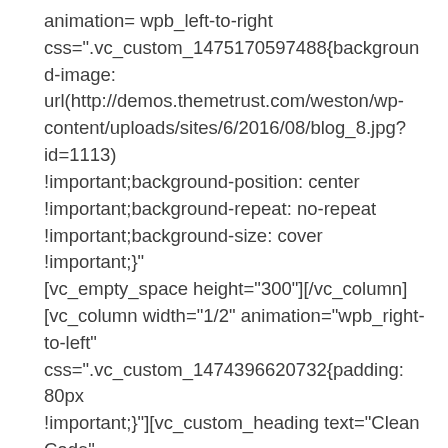animation= wpb_left-to-right css=".vc_custom_1475170597488{background-image: url(http://demos.themetrust.com/weston/wp-content/uploads/sites/6/2016/08/blog_8.jpg?id=1113) !important;background-position: center !important;background-repeat: no-repeat !important;background-size: cover !important;}"] [vc_empty_space height="300"][/vc_column] [vc_column width="1/2" animation="wpb_right-to-left" css=".vc_custom_1474396620732{padding: 80px !important;}"][vc_custom_heading text="Clean Code" font_container="tag:h3|text_align:left" google_fonts="font_family:Raleway%3A100%2C200%2C30 css=".vc_custom_1475170608075{padding-bottom: 30px !important;}"][vc_column_text css=".vc_custom_1474396612838{margin-top: 0px !important;border-top-width: 0px !important;padding-